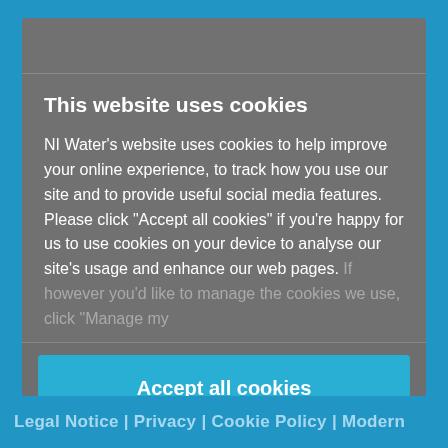This website uses cookies
NI Water's website uses cookies to help improve your online experience, to track how you use our site and to provide useful social media features. Please click "Accept all cookies" if you're happy for us to use cookies on your device to analyse our site's usage and enhance our web pages. If however you'd like to manage the cookies we use, click "Manage my
Accept all cookies
Manage my cookies
Legal Notice | Privacy | Cookie Policy | Modern